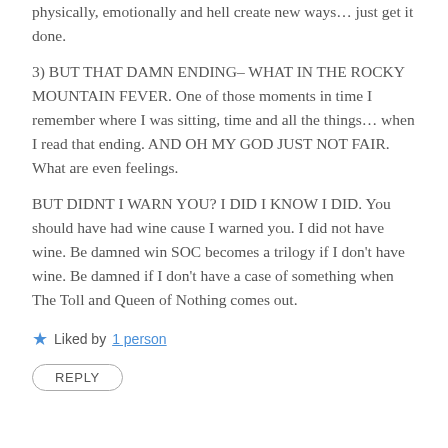physically, emotionally and hell create new ways… just get it done.
3) BUT THAT DAMN ENDING– WHAT IN THE ROCKY MOUNTAIN FEVER. One of those moments in time I remember where I was sitting, time and all the things… when I read that ending. AND OH MY GOD JUST NOT FAIR. What are even feelings.
BUT DIDNT I WARN YOU? I DID I KNOW I DID. You should have had wine cause I warned you. I did not have wine. Be damned win SOC becomes a trilogy if I don't have wine. Be damned if I don't have a case of something when The Toll and Queen of Nothing comes out.
Liked by 1 person
REPLY